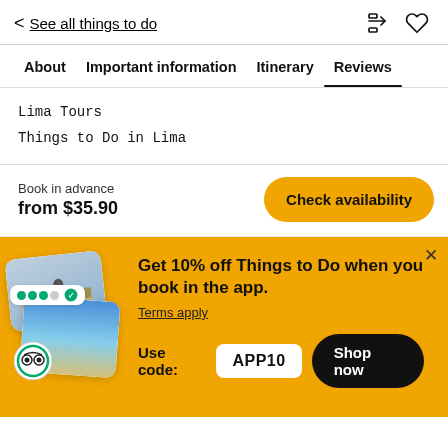< See all things to do
About  Important information  Itinerary  Reviews
Lima Tours
Things to Do in Lima
Book in advance
from $35.90
Check availability
Get 10% off Things to Do when you book in the app.
Terms apply
Use code: APP10
Shop now